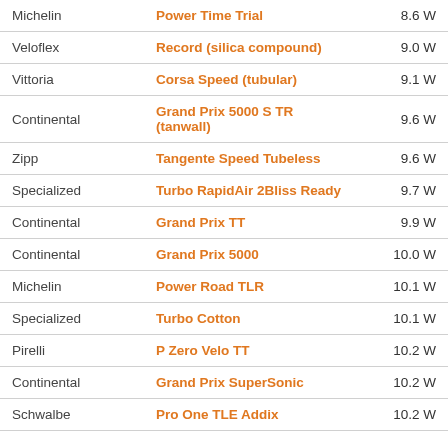| Brand | Model | Watts |
| --- | --- | --- |
| Michelin | Power Time Trial | 8.6 W |
| Veloflex | Record (silica compound) | 9.0 W |
| Vittoria | Corsa Speed (tubular) | 9.1 W |
| Continental | Grand Prix 5000 S TR (tanwall) | 9.6 W |
| Zipp | Tangente Speed Tubeless | 9.6 W |
| Specialized | Turbo RapidAir 2Bliss Ready | 9.7 W |
| Continental | Grand Prix TT | 9.9 W |
| Continental | Grand Prix 5000 | 10.0 W |
| Michelin | Power Road TLR | 10.1 W |
| Specialized | Turbo Cotton | 10.1 W |
| Pirelli | P Zero Velo TT | 10.2 W |
| Continental | Grand Prix SuperSonic | 10.2 W |
| Schwalbe | Pro One TLE Addix | 10.2 W |